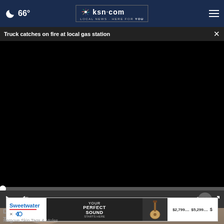66° ksn.com LOCAL NEWS · HERE FOR YOU
Truck catches on fire at local gas station
[Figure (screenshot): Black video player area showing a paused/loading video with progress bar at 0:00 and playback controls]
[Figure (photo): Partial photo visible below video player showing a person's face/chin]
Do T... Tag...
[Figure (screenshot): Sweetwater advertisement banner: YOUR PERFECT SOUND STARTS HERE - $2,799.... $5,299.... $]
Remove Skin Tags &amp; Moles